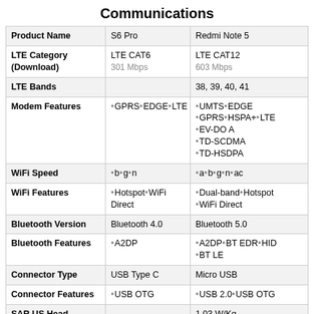Communications
|  | S6 Pro | Redmi Note 5 |
| --- | --- | --- |
| Product Name | S6 Pro | Redmi Note 5 |
| LTE Category (Download) | LTE CAT6
301 Mbps | LTE CAT12
603 Mbps |
| LTE Bands |  | 38, 39, 40, 41 |
| Modem Features | •GPRS•EDGE•LTE | •UMTS•EDGE
•GPRS•HSPA+•LTE
•EV-DO A
•TD-SCDMA
•TD-HSDPA |
| WiFi Speed | •b•g•n | •a•b•g•n•ac |
| WiFi Features | •Hotspot•WiFi Direct | •Dual-band•Hotspot
•WiFi Direct |
| Bluetooth Version | Bluetooth 4.0 | Bluetooth 5.0 |
| Bluetooth Features | •A2DP | •A2DP•BT EDR•HID
•BT LE |
| Connector Type | USB Type C | Micro USB |
| Connector Features | •USB OTG | •USB 2.0•USB OTG |
| SAR US Head |  | 1.03 W/Kg |
| SAR US Body |  | 0.79 W/Kg |